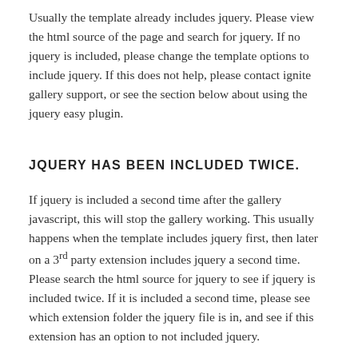Usually the template already includes jquery. Please view the html source of the page and search for jquery. If no jquery is included, please change the template options to include jquery. If this does not help, please contact ignite gallery support, or see the section below about using the jquery easy plugin.
JQUERY HAS BEEN INCLUDED TWICE.
If jquery is included a second time after the gallery javascript, this will stop the gallery working. This usually happens when the template includes jquery first, then later on a 3rd party extension includes jquery a second time. Please search the html source for jquery to see if jquery is included twice. If it is included a second time, please see which extension folder the jquery file is in, and see if this extension has an option to not included jquery.